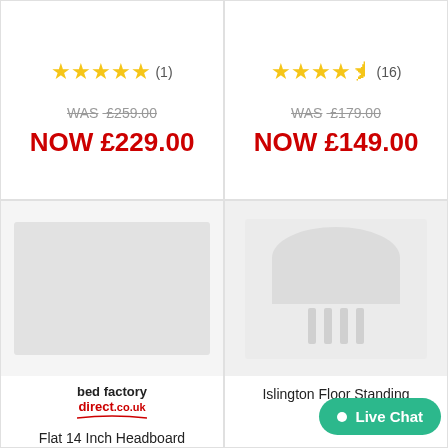★★★★★ (1) WAS £259.00 NOW £229.00
★★★★½ (16) WAS £179.00 NOW £149.00
[Figure (photo): Product image placeholder for Flat 14 Inch Headboard with bed factory direct logo]
Flat 14 Inch Headboard
[Figure (photo): Product image placeholder for Islington Floor Standing item with Live Chat button overlay]
Islington Floor Standing